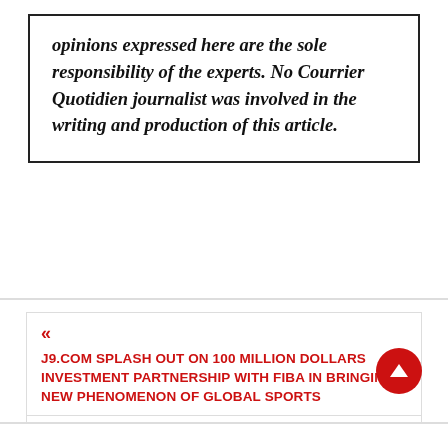opinions expressed here are the sole responsibility of the experts. No Courrier Quotidien journalist was involved in the writing and production of this article.
« J9.COM SPLASH OUT ON 100 MILLION DOLLARS INVESTMENT PARTNERSHIP WITH FIBA IN BRINGING NEW PHENOMENON OF GLOBAL SPORTS
LEAGUE OF ANCIENTS PLAY-TO-EARN NFT MOBA GAME LISTED ON GATE.IO EXCHANGE »